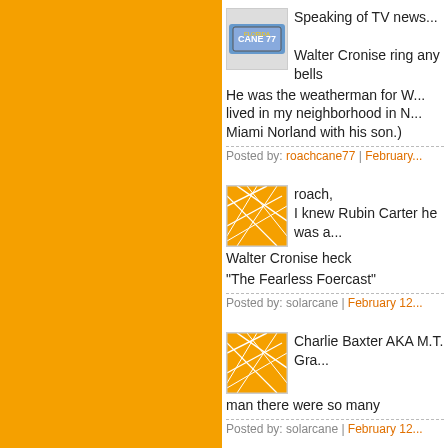[Figure (photo): License plate image showing CANE 77]
Speaking of TV news...
Walter Cronise ring any bells
He was the weatherman for W... lived in my neighborhood in N... Miami Norland with his son.)
Posted by: roachcane77 | February...
[Figure (illustration): Orange geometric web/crack pattern avatar]
roach,
I knew Rubin Carter he was a...
Walter Cronise heck
"The Fearless Foercast"
Posted by: solarcane | February 12...
[Figure (illustration): Orange geometric web/crack pattern avatar]
Charlie Baxter AKA M.T. Gra...
man there were so many
Posted by: solarcane | February 12...